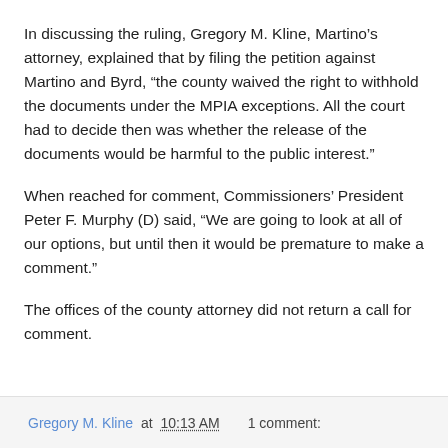In discussing the ruling, Gregory M. Kline, Martino’s attorney, explained that by filing the petition against Martino and Byrd, “the county waived the right to withhold the documents under the MPIA exceptions. All the court had to decide then was whether the release of the documents would be harmful to the public interest.”
When reached for comment, Commissioners’ President Peter F. Murphy (D) said, “We are going to look at all of our options, but until then it would be premature to make a comment.”
The offices of the county attorney did not return a call for comment.
Gregory M. Kline at 10:13 AM  1 comment: